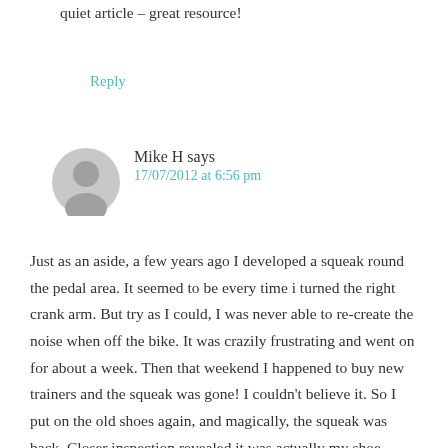quiet article – great resource!
Reply
Mike H says
17/07/2012 at 6:56 pm
Just as an aside, a few years ago I developed a squeak round the pedal area. It seemed to be every time i turned the right crank arm. But try as I could, I was never able to re-create the noise when off the bike. It was crazily frustrating and went on for about a week. Then that weekend I happened to buy new trainers and the squeak was gone! I couldn't believe it. So I put on the old shoes again, and magically, the squeak was back. Closer inspection revealed it was actually my shoe rubbing